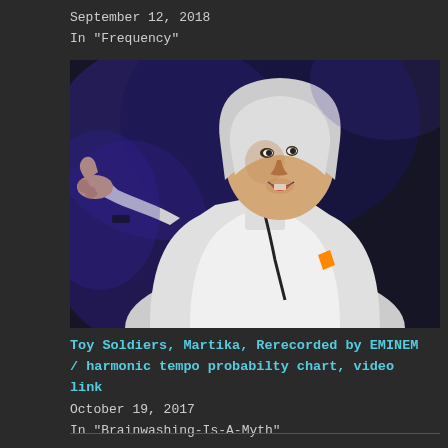September 12, 2018
In "Frequency"
[Figure (photo): A performer on stage wearing a white hoodie, pointing with one hand, caught mid-performance under stage lighting against a dark background.]
Toy Soldiers, Martika, Rerecorded by EMINEM / harmonic tempo probabilty chart, video link
October 19, 2017
In "Brainwashing-Is-A-Myth"